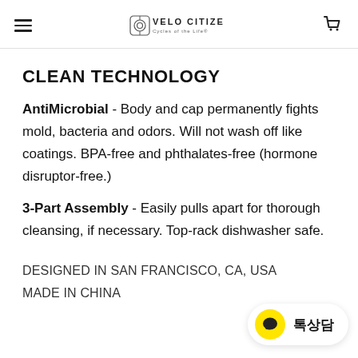VELO CITIZEN™
CLEAN TECHNOLOGY
AntiMicrobial - Body and cap permanently fights mold, bacteria and odors. Will not wash off like coatings. BPA-free and phthalates-free (hormone disruptor-free.)
3-Part Assembly - Easily pulls apart for thorough cleansing, if necessary. Top-rack dishwasher safe.
DESIGNED IN SAN FRANCISCO, CA, USA
MADE IN CHINA